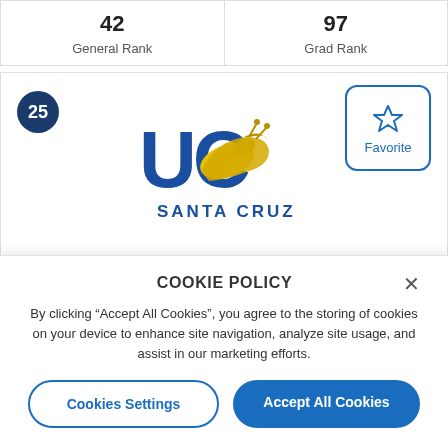| General Rank | Grad Rank |
| --- | --- |
| 42 | 97 |
[Figure (logo): UC Santa Cruz logo with slug mascot and blue lettering, badge showing '25', and Favorite button]
COOKIE POLICY
By clicking "Accept All Cookies", you agree to the storing of cookies on your device to enhance site navigation, analyze site usage, and assist in our marketing efforts.
Cookies Settings    Accept All Cookies